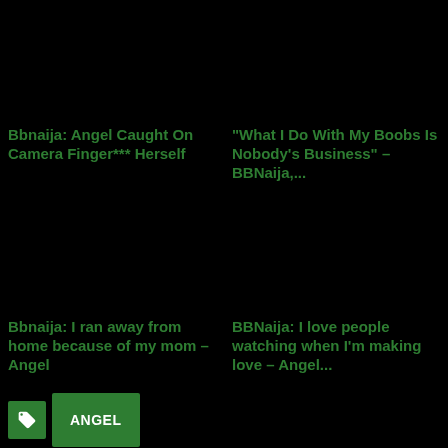Bbnaija: Angel Caught On Camera Finger*** Herself
“What I Do With My Boobs Is Nobody’s Business” – BBNaija,...
Bbnaija: I ran away from home because of my mom – Angel
BBNaija: I love people watching when I’m making love – Angel...
ANGEL
SHARE WITH FRIENDS